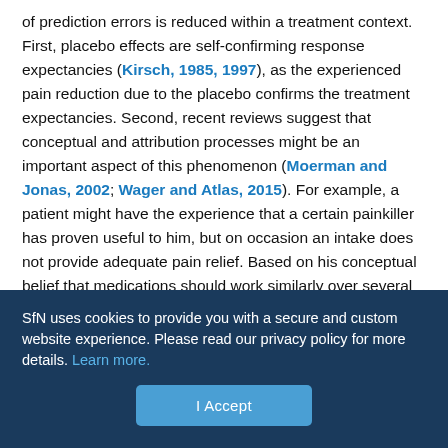of prediction errors is reduced within a treatment context. First, placebo effects are self-confirming response expectancies (Kirsch, 1985, 1997), as the experienced pain reduction due to the placebo confirms the treatment expectancies. Second, recent reviews suggest that conceptual and attribution processes might be an important aspect of this phenomenon (Moerman and Jonas, 2002; Wager and Atlas, 2015). For example, a patient might have the experience that a certain painkiller has proven useful to him, but on occasion an intake does not provide adequate pain relief. Based on his conceptual belief that medications should work similarly over several intakes, he might attribute the difference in perception to other factors and keep his expectation of improvement even if an intake did not prove useful. Similarly, it is likely that participants in the
SfN uses cookies to provide you with a secure and custom website experience. Please read our privacy policy for more details. Learn more.